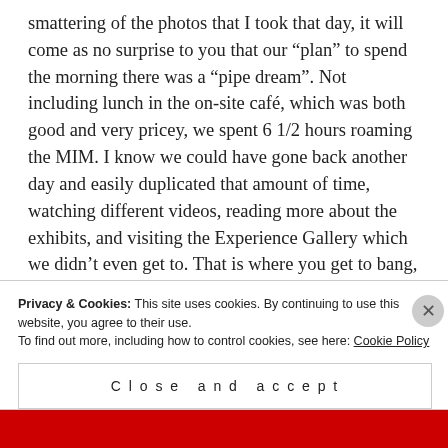smattering of the photos that I took that day, it will come as no surprise to you that our “plan” to spend the morning there was a “pipe dream”.  Not including lunch in the on-site café, which was both good and very pricey, we spent 6 1/2 hours roaming the MIM.  I know we could have gone back another day and easily duplicated that amount of time, watching different videos, reading more about the exhibits, and visiting the Experience Gallery which we didn’t even get to.  That is where you get to bang, strum, pluck, hit, and play all kinds of instruments from different
Privacy & Cookies: This site uses cookies. By continuing to use this website, you agree to their use.
To find out more, including how to control cookies, see here: Cookie Policy
Close and accept